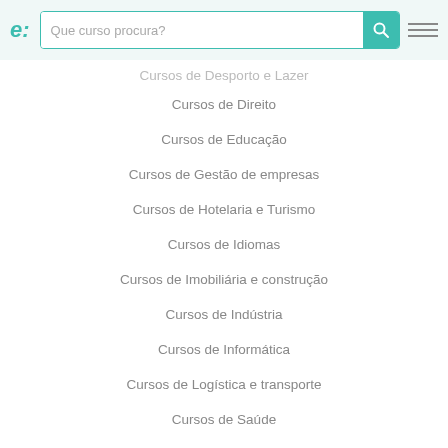Que curso procura?
Cursos de Desporto e Lazer
Cursos de Direito
Cursos de Educação
Cursos de Gestão de empresas
Cursos de Hotelaria e Turismo
Cursos de Idiomas
Cursos de Imobiliária e construção
Cursos de Indústria
Cursos de Informática
Cursos de Logística e transporte
Cursos de Saúde
Cursos de Segurança
Cursos de Setor financeiro